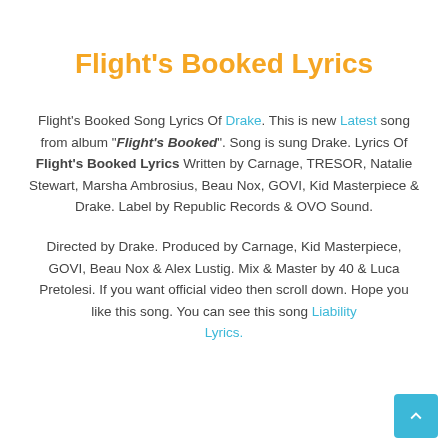Flight's Booked Lyrics
Flight's Booked Song Lyrics Of Drake. This is new Latest song from album "Flight's Booked". Song is sung Drake. Lyrics Of Flight's Booked Lyrics Written by Carnage, TRESOR, Natalie Stewart, Marsha Ambrosius, Beau Nox, GOVI, Kid Masterpiece & Drake. Label by Republic Records & OVO Sound.
Directed by Drake. Produced by Carnage, Kid Masterpiece, GOVI, Beau Nox & Alex Lustig. Mix & Master by 40 & Luca Pretolesi. If you want official video then scroll down. Hope you like this song. You can see this song Liability Lyrics.